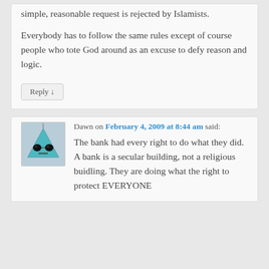simple, reasonable request is rejected by Islamists.
Everybody has to follow the same rules except of course people who tote God around as an excuse to defy reason and logic.
Reply ↓
Dawn on February 4, 2009 at 8:44 am said:
The bank had every right to do what they did. A bank is a secular building, not a religious buidling. They are doing what the right to protect EVERYONE